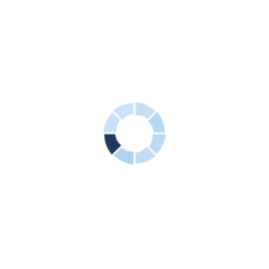[Figure (donut-chart): A loading spinner or donut chart with 8 segments arranged in a circle. One segment in the bottom-left is dark navy blue (#1e3a5f), while the remaining seven segments are light blue (#b8d4f0 to #cce0f7), creating a segmented ring with a white center hole and white gaps between segments.]